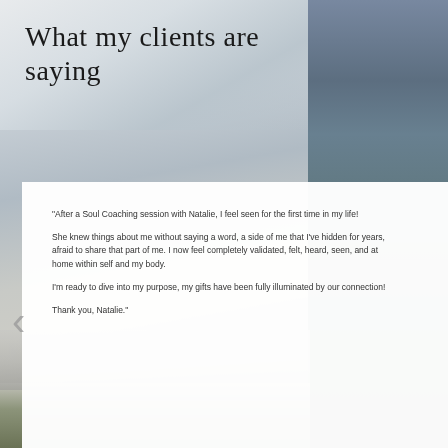[Figure (photo): Background composite image: misty landscape with sky on left portion, darker dramatic landscape with clouds on right portion, grass field at bottom. Decorative page background.]
What my clients are saying
[Figure (illustration): Yellow wildflower stem with small yellow blooms and green leaves, positioned in upper-right area of the white testimonial card.]
"After a Soul Coaching session with Natalie, I feel seen for the first time in my life!

She knew things about me without saying a word, a side of me that I've hidden for years, afraid to share that part of me. I now feel completely validated, felt, heard, seen, and at home within self and my body.

I'm ready to dive into my purpose, my gifts have been fully illuminated by our connection!

Thank you, Natalie."